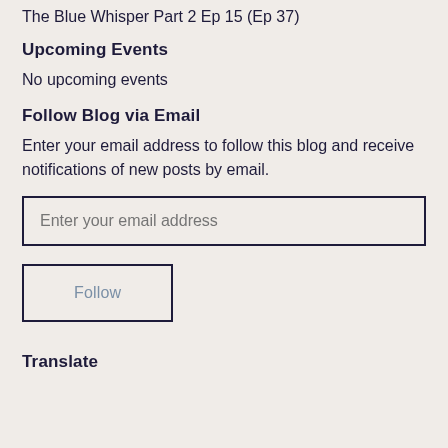The Blue Whisper Part 2 Ep 15 (Ep 37)
Upcoming Events
No upcoming events
Follow Blog via Email
Enter your email address to follow this blog and receive notifications of new posts by email.
Enter your email address
Follow
Translate